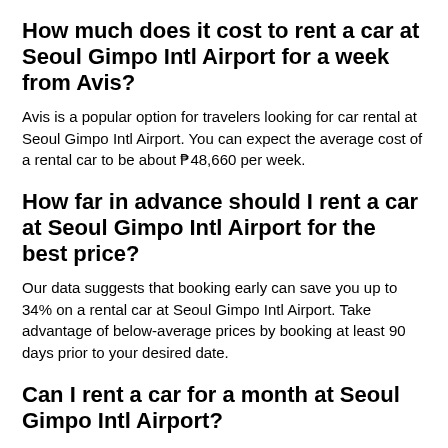How much does it cost to rent a car at Seoul Gimpo Intl Airport for a week from Avis?
Avis is a popular option for travelers looking for car rental at Seoul Gimpo Intl Airport. You can expect the average cost of a rental car to be about ₱48,660 per week.
How far in advance should I rent a car at Seoul Gimpo Intl Airport for the best price?
Our data suggests that booking early can save you up to 34% on a rental car at Seoul Gimpo Intl Airport. Take advantage of below-average prices by booking at least 90 days prior to your desired date.
Can I rent a car for a month at Seoul Gimpo Intl Airport?
The length of time you can book a rental for is subject to the inventory of the supplier. When renting a vehicle from Seoul Gimpo Intl Airport it should be possible to rent a car for a whole month if needed.